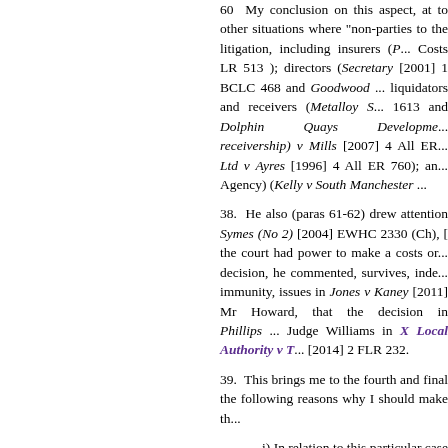60 My conclusion on this aspect, at to other situations where "non-parties to the litigation, including insurers (... Costs LR 513 ); directors (Secretary [2001] 1 BCLC 468 and Goodwood ... liquidators and receivers (Metalloy S... 1613 and Dolphin Quays Developments... receivership) v Mills [2007] 4 All ER... Ltd v Ayres [1996] 4 All ER 760); and Agency) (Kelly v South Manchester ...
38. He also (paras 61-62) drew attention ... Symes (No 2) [2004] EWHC 2330 (Ch), [ the court had power to make a costs or... decision, he commented, survives, inde... immunity, issues in Jones v Kaney [2011] Mr Howard, that the decision in Phillips ... Judge Williams in X Local Authority v T... [2014] 2 FLR 232.
39. This brings me to the fourth and final the following reasons why I should make th...
i) In relation to this particular case th... with Capita's service provision. The f... event. Even putting on one side the h... given only 37 minutes' notice of the e... failures on no fewer than five previo... August 2012, 18 September 2012 and...